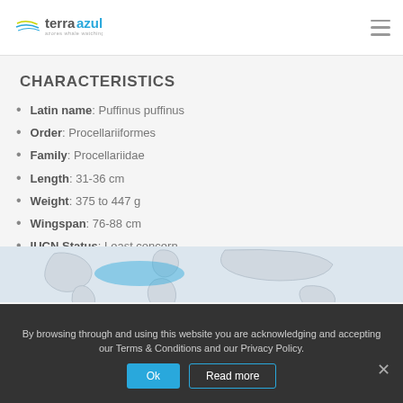terra azul – azores whale watching
CHARACTERISTICS
Latin name: Puffinus puffinus
Order: Procellariiformes
Family: Procellariidae
Length: 31-36 cm
Weight: 375 to 447 g
Wingspan: 76-88 cm
IUCN Status: Least concern
[Figure (map): World map showing distribution range of Puffinus puffinus with highlighted areas]
By browsing through and using this website you are acknowledging and accepting our Terms & Conditions and our Privacy Policy.